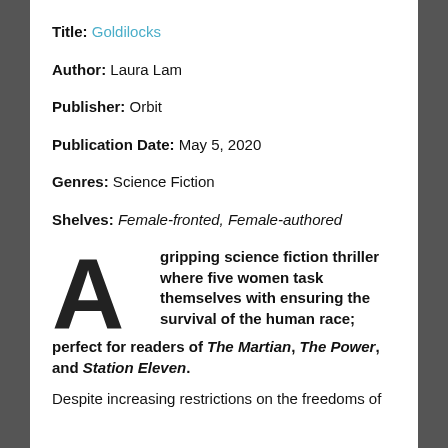Title: Goldilocks
Author: Laura Lam
Publisher: Orbit
Publication Date: May 5, 2020
Genres: Science Fiction
Shelves: Female-fronted, Female-authored
A gripping science fiction thriller where five women task themselves with ensuring the survival of the human race; perfect for readers of The Martian, The Power, and Station Eleven.
Despite increasing restrictions on the freedoms of